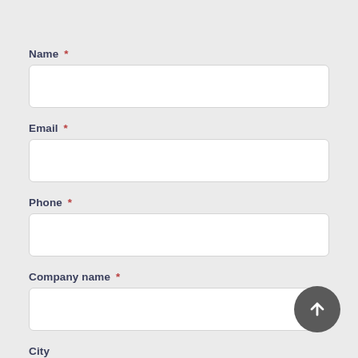Name *
Email *
Phone *
Company name *
City